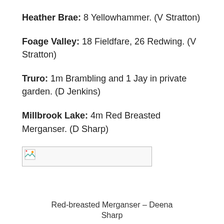Heather Brae: 8 Yellowhammer. (V Stratton)
Foage Valley: 18 Fieldfare, 26 Redwing. (V Stratton)
Truro: 1m Brambling and 1 Jay in private garden. (D Jenkins)
Millbrook Lake: 4m Red Breasted Merganser. (D Sharp)
[Figure (photo): Broken image placeholder for a photo of a Red-breasted Merganser]
Red-breasted Merganser – Deena Sharp